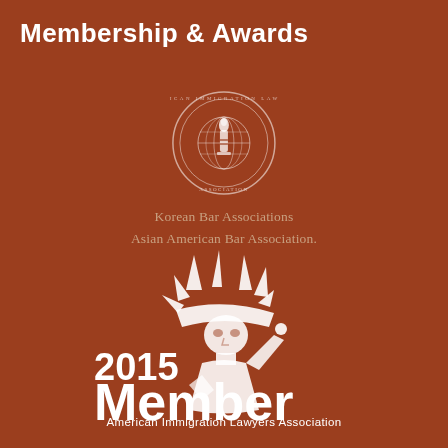Membership & Awards
[Figure (logo): Circular seal/logo for an immigration lawyers association, white outline on brown background, featuring a globe with a torch/flame in the center]
Korean Bar Associations
Asian American Bar Association.
[Figure (logo): 2015 Member American Immigration Lawyers Association badge with Statue of Liberty silhouette in white on brown background]
2015
Member
American Immigration Lawyers Association